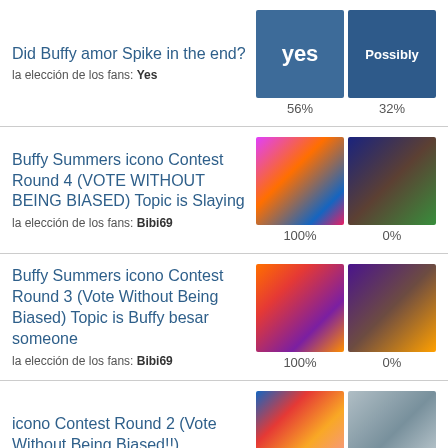Did Buffy amor Spike in the end?
la elección de los fans: Yes
56% | Possibly 32%
Buffy Summers icono Contest Round 4 (VOTE WITHOUT BEING BIASED) Topic is Slaying
la elección de los fans: Bibi69
100% | 0%
Buffy Summers icono Contest Round 3 (Vote Without Being Biased) Topic is Buffy besar someone
la elección de los fans: Bibi69
100% | 0%
icono Contest Round 2 (Vote Without Being Biased!!)
la elección de los fans: Bibi69
67% | 33%
icono contest-Round 1(Vote Without